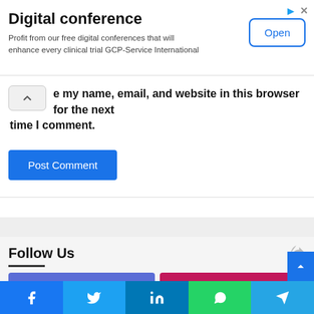[Figure (screenshot): Advertisement banner for Digital conference with an Open button]
Digital conference
Profit from our free digital conferences that will enhance every clinical trial GCP-Service International
e my name, email, and website in this browser for the next time I comment.
Post Comment
Follow Us
0 Fans
287k Followers